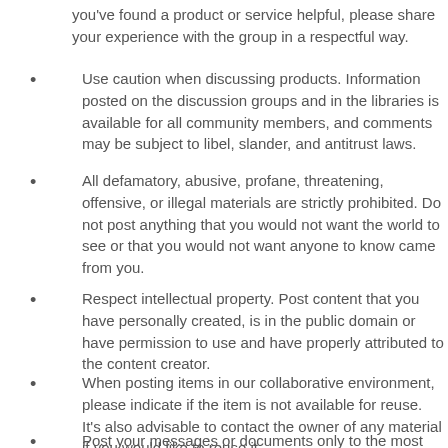you've found a product or service helpful, please share your experience with the group in a respectful way.
Use caution when discussing products. Information posted on the discussion groups and in the libraries is available for all community members, and comments may be subject to libel, slander, and antitrust laws.
All defamatory, abusive, profane, threatening, offensive, or illegal materials are strictly prohibited. Do not post anything that you would not want the world to see or that you would not want anyone to know came from you.
Respect intellectual property. Post content that you have personally created, is in the public domain or have permission to use and have properly attributed to the content creator.
When posting items in our collaborative environment, please indicate if the item is not available for reuse. It’s also advisable to contact the owner of any material if you would like to reuse it.
Post your messages or documents only to the most...